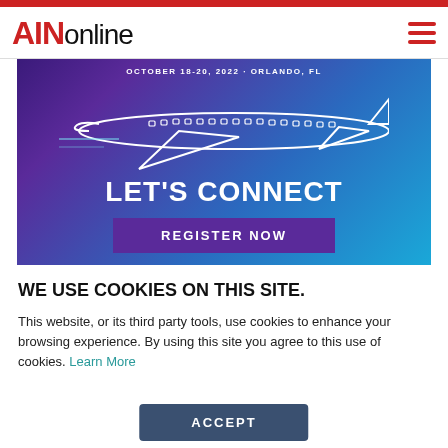AINonline
[Figure (illustration): Aviation event banner with airplane illustration, text 'OCTOBER 18-20, 2022 · ORLANDO, FL', 'LET'S CONNECT', and 'REGISTER NOW' button on gradient purple-blue background]
WE USE COOKIES ON THIS SITE.
This website, or its third party tools, use cookies to enhance your browsing experience. By using this site you agree to this use of cookies. Learn More
ACCEPT